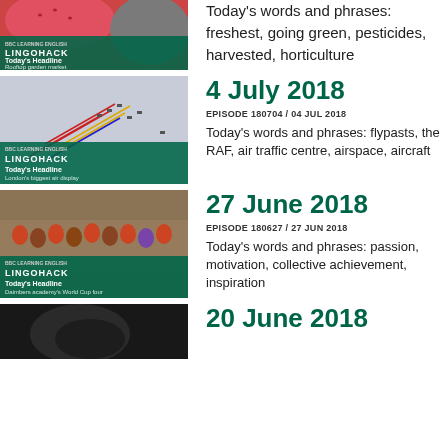Today's words and phrases: freshest, going green, pesticides, harvested, horticulture
[Figure (photo): Lingohack thumbnail showing strawberry and melon with teal overlay bar reading Today's Headline: Rooftop garden market]
4 July 2018
EPISODE 180704 / 04 JUL 2018
[Figure (photo): Lingohack thumbnail showing aircraft flying in formation with red, white and blue smoke trails, teal overlay bar reading Today's Headline: London's biggest air display]
Today's words and phrases: flypasts, the RAF, air traffic centre, airspace, aircraft
27 June 2018
EPISODE 180627 / 27 JUN 2018
[Figure (photo): Lingohack thumbnail showing a football team group photo, teal overlay bar reading Today's Headline: Daimbers academy's World Cup four]
Today's words and phrases: passion, motivation, collective achievement, inspiration
20 June 2018